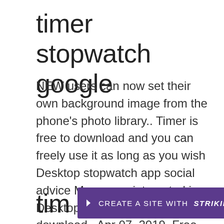timer stopwatch google
NEW users can now set their own background image from the phone&#39;s photo library.. Timer is free to download and you can freely use it as long as you wish Desktop stopwatch app social advice Mac users interested in Desktop stopwatch app generally download.. Apr 07, 2019&nbsp; Free Tabata Stopwatch Pro Tabata Timer and HIIT Timer APK APPS Download For PC,Laptop,MAC For PC,Windows 7,8,10,XP. 3
tim... e
[Figure (screenshot): Strikingly website builder promotional bar with purple background, downward arrow icon, text 'CREATE A SITE WITH strikingly' in white]